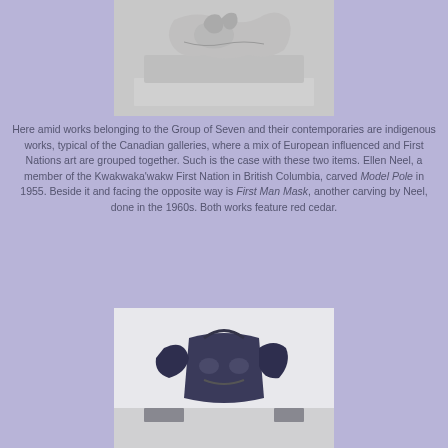[Figure (photo): A white/light grey sculpture or relief carving displayed on a white pedestal, partially cropped at top]
Here amid works belonging to the Group of Seven and their contemporaries are indigenous works, typical of the Canadian galleries, where a mix of European influenced and First Nations art are grouped together. Such is the case with these two items. Ellen Neel, a member of the Kwakwaka'wakw First Nation in British Columbia, carved Model Pole in 1955. Beside it and facing the opposite way is First Man Mask, another carving by Neel, done in the 1960s. Both works feature red cedar.
[Figure (photo): A dark-colored First Nations carved wooden mask or totem piece displayed on a white surface, featuring wing-like extensions, partially cropped at bottom]